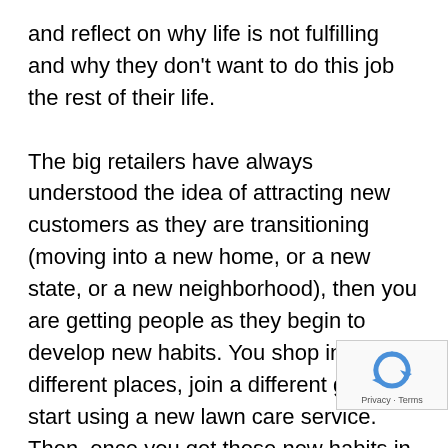and reflect on why life is not fulfilling and why they don't want to do this job the rest of their life.

The big retailers have always understood the idea of attracting new customers as they are transitioning (moving into a new home, or a new state, or a new neighborhood), then you are getting people as they begin to develop new habits. You shop in different places, join a different gym, or start using a new lawn care service. Then, once you get those new habits in place, you don't change that much. Retailers know once when you can get someone in that transition period, they have more opportunities to make them a new customer. Check out the book Power of Habit, that described how Target uses data like when mothers are pregnant. What they know is if you